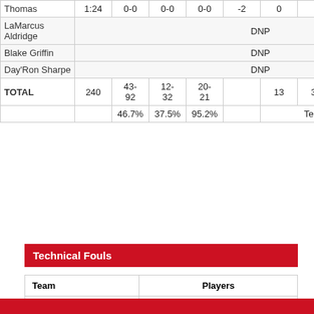| Player | MIN | FGM-A | 3PM-A | FTM-A | +/- | OFF | DEF | REB | AST | ... |
| --- | --- | --- | --- | --- | --- | --- | --- | --- | --- | --- |
| Thomas | 1:24 | 0-0 | 0-0 | 0-0 | -2 | 0 | 0 | 0 | 0 | ... |
| LaMarcus Aldridge | DNP |  |  |  |  |  |  |  |  |  |
| Blake Griffin | DNP |  |  |  |  |  |  |  |  |  |
| Day'Ron Sharpe | DNP |  |  |  |  |  |  |  |  |  |
| TOTAL | 240 | 43-92 | 12-32 | 20-21 |  | 13 | 32 | 45 | 30 | 2... |
|  |  | 46.7% | 37.5% | 95.2% |  | Team Rebs: 11 |  |  |  |  |
Technical Fouls
| Team | Players |
| --- | --- |
| CLE | None |
| BK | None |